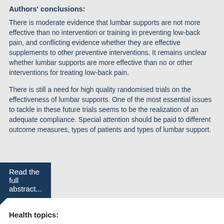Authors' conclusions:
There is moderate evidence that lumbar supports are not more effective than no intervention or training in preventing low-back pain, and conflicting evidence whether they are effective supplements to other preventive interventions. It remains unclear whether lumbar supports are more effective than no or other interventions for treating low-back pain.
There is still a need for high quality randomised trials on the effectiveness of lumbar supports. One of the most essential issues to tackle in these future trials seems to be the realization of an adequate compliance. Special attention should be paid to different outcome measures, types of patients and types of lumbar support.
Read the full abstract...
Health topics: